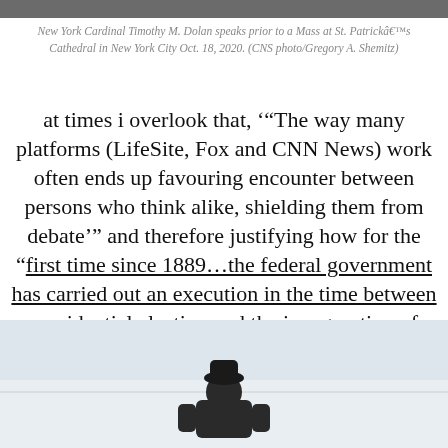[Figure (photo): Top portion of a photo showing a person, cropped at the top of the page]
New York Cardinal Timothy M. Dolan speaks prior to a Mass at St. Patrickâ€™s Cathedral in New York City Oct. 18, 2020. (CNS photo/Gregory A. Shemitz)
at times i overlook that, ‘“The way many platforms (LifeSite, Fox and CNN News) work often ends up favouring encounter between persons who think alike, shielding them from debate’” and therefore justifying how for the “first time since 1889…the federal government has carried out an execution in the time between a presidential election and the inauguration of a new president”…
[Figure (photo): Bottom photo showing a person in a winter snowy landscape, wearing dark winter clothing and a hat]